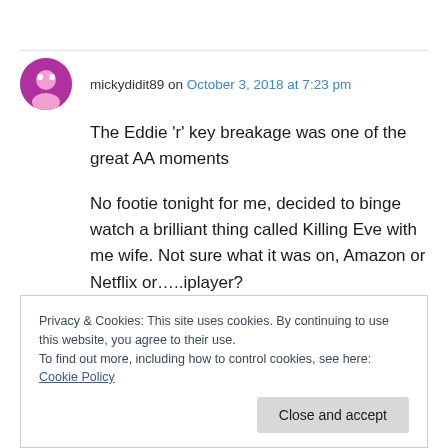mickydidit89 on October 3, 2018 at 7:23 pm
The Eddie ‘r’ key breakage was one of the great AA moments
No footie tonight for me, decided to binge watch a brilliant thing called Killing Eve with me wife. Not sure what it was on, Amazon or Netflix or…..iplayer?
Privacy & Cookies: This site uses cookies. By continuing to use this website, you agree to their use.
To find out more, including how to control cookies, see here: Cookie Policy